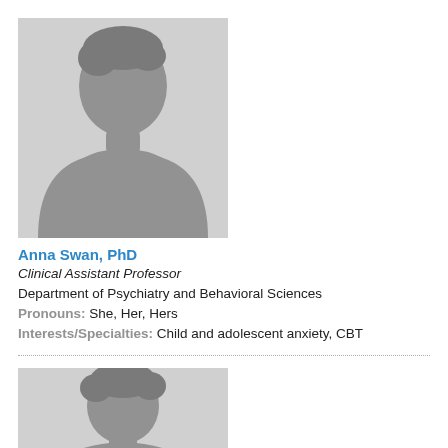[Figure (photo): Placeholder silhouette avatar image for Anna Swan, PhD]
Anna Swan, PhD
Clinical Assistant Professor
Department of Psychiatry and Behavioral Sciences
Pronouns: She, Her, Hers
Interests/Specialties: Child and adolescent anxiety, CBT
[Figure (photo): Placeholder silhouette avatar image for second profile]